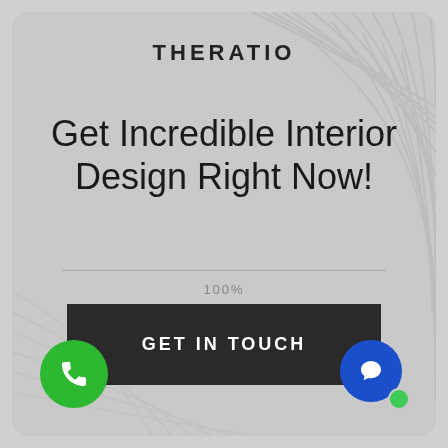THERATIO
Get Incredible Interior Design Right Now!
100%
GET IN TOUCH
[Figure (illustration): Green phone call button circle (bottom-left)]
[Figure (illustration): Blue chat/message button circle with green dot (bottom-right)]